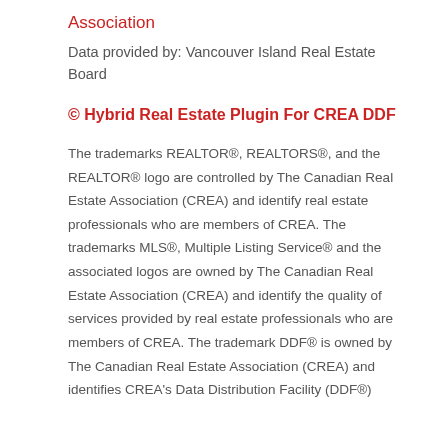Association
Data provided by: Vancouver Island Real Estate Board
© Hybrid Real Estate Plugin For CREA DDF
The trademarks REALTOR®, REALTORS®, and the REALTOR® logo are controlled by The Canadian Real Estate Association (CREA) and identify real estate professionals who are members of CREA. The trademarks MLS®, Multiple Listing Service® and the associated logos are owned by The Canadian Real Estate Association (CREA) and identify the quality of services provided by real estate professionals who are members of CREA. The trademark DDF® is owned by The Canadian Real Estate Association (CREA) and identifies CREA's Data Distribution Facility (DDF®)